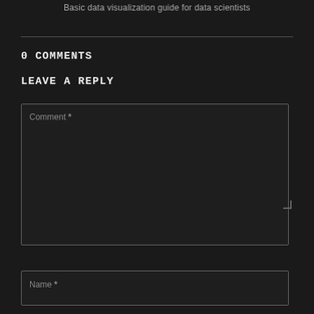Basic data visualization guide for data scientists
0 COMMENTS
LEAVE A REPLY
[Figure (screenshot): Comment text area input box with placeholder text 'Comment *']
[Figure (screenshot): Name text input box with placeholder text 'Name *']